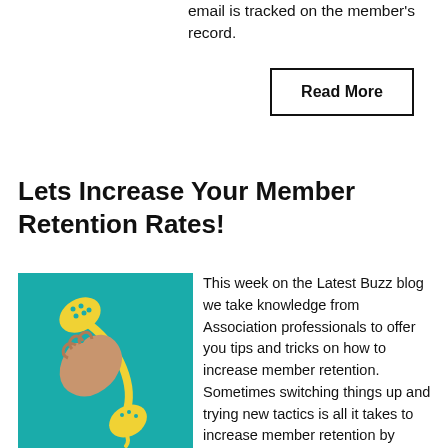email is tracked on the member's record.
Read More
Lets Increase Your Member Retention Rates!
[Figure (illustration): Illustration of a hand holding a telephone handset on a teal/turquoise background with yellow graphic elements.]
This week on the Latest Buzz blog we take knowledge from Association professionals to offer you tips and tricks on how to increase member retention. Sometimes switching things up and trying new tactics is all it takes to increase member retention by 20%.